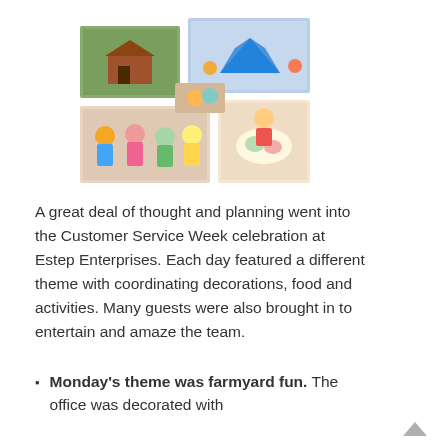[Figure (photo): A collage of multiple photographs showing people at what appears to be Customer Service Week events, including outdoor activities and office celebrations.]
A great deal of thought and planning went into the Customer Service Week celebration at Estep Enterprises. Each day featured a different theme with coordinating decorations, food and activities. Many guests were also brought in to entertain and amaze the team.
Monday's theme was farmyard fun. The office was decorated with